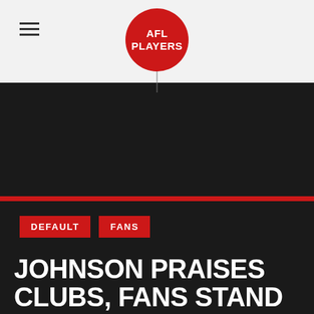AFL Players
[Figure (logo): AFL Players logo — red circle with white text 'AFL PLAYERS']
[Figure (photo): Dark/black background image section]
DEFAULT
FANS
JOHNSON PRAISES CLUBS, FANS STAND AGAINST RACISM